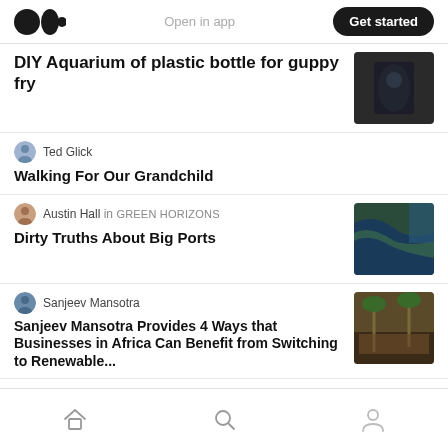Medium logo | Open in app | Get started
DIY Aquarium of plastic bottle for guppy fry
Ted Glick
Walking For Our Grandchild
Austin Hall in GREEN HORIZONS
Dirty Truths About Big Ports
Sanjeev Mansotra
Sanjeev Mansotra Provides 4 Ways that Businesses in Africa Can Benefit from Switching to Renewable...
Home | Search | Profile